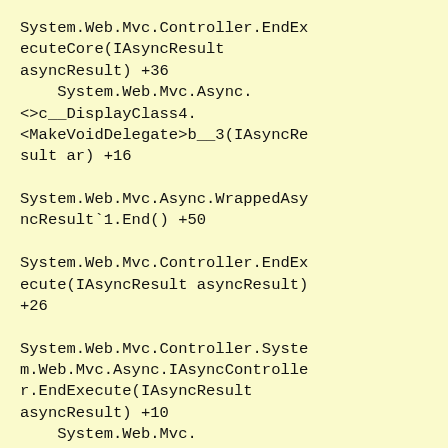System.Web.Mvc.Controller.EndExecuteCore(IAsyncResult asyncResult) +36
    System.Web.Mvc.Async.<>c__DisplayClass4.<MakeVoidDelegate>b__3(IAsyncResult ar) +16

System.Web.Mvc.Async.WrappedAsyncResult`1.End() +50

System.Web.Mvc.Controller.EndExecute(IAsyncResult asyncResult) +26

System.Web.Mvc.Controller.System.Web.Mvc.Async.IAsyncController.EndExecute(IAsyncResult asyncResult) +10
    System.Web.Mvc.<>c__DisplayClass8.<BeginProcessRequest>b__3(IAsyncResult asyncResult) +25
    System.Web.Mvc.Async.